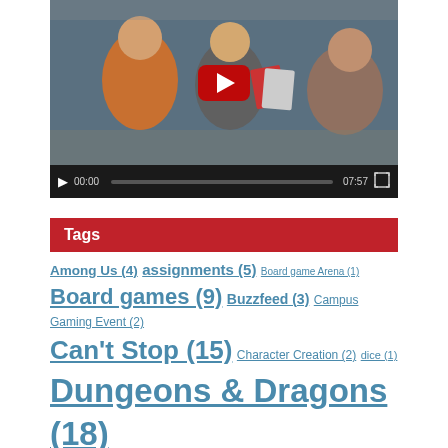[Figure (screenshot): YouTube video embed showing 'EDL 290T: Tabletop Games & Le...' with students playing card games in a classroom. Video controls show 00:00 / 07:57.]
Tags
Among Us (4) assignments (5) Board game Arena (1) Board games (9) Buzzfeed (3) Campus Gaming Event (2) Can't Stop (15) Character Creation (2) dice (1) Dungeons & Dragons (18) Dungeons and Dragons (7) Event Reflection (4) Extra Credit (5) Fiasco (42) Free Play (6) game (5) game mechanics (1) Game of the Week (51)